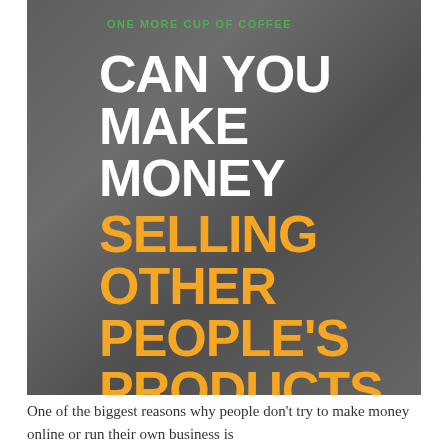[Figure (photo): Grayscale background photo of a person working at a desk with overlaid text. Shows a person writing or working with hands and a camera/device visible.]
ONE MORE CUP OF COFFEE
CAN YOU MAKE MONEY SELLING OTHER PEOPLE'S PRODUCTS ONLINE?
One of the biggest reasons why people don't try to make money online or run their own business is